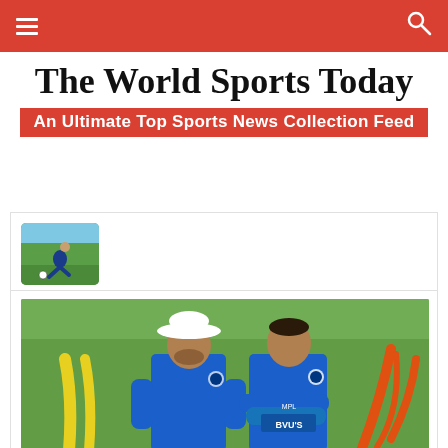☰  [The World Sports Today navigation bar]  🔍
The World Sports Today
An Ultimate Top Sports News Collection Feed
[Figure (photo): Small thumbnail image of a soccer/football player kicking a ball on a green field]
[Figure (photo): Two Indian cricket team players in blue jerseys at a training session. One wears a white sun hat and has a beard; the other (Rahul Dravid) stands with arms crossed. Yellow and orange training equipment visible in background.]